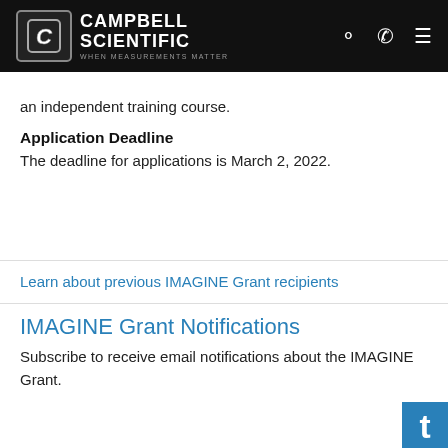Campbell Scientific — When measurements matter
an independent training course.
Application Deadline
The deadline for applications is March 2, 2022.
Learn about previous IMAGINE Grant recipients
IMAGINE Grant Notifications
Subscribe to receive email notifications about the IMAGINE Grant.